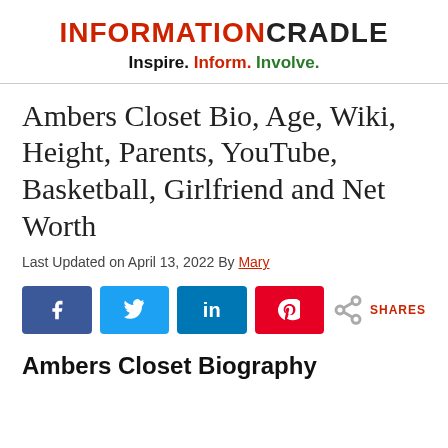INFORMATIONCRADLE
Inspire. Inform. Involve.
Ambers Closet Bio, Age, Wiki, Height, Parents, YouTube, Basketball, Girlfriend and Net Worth
Last Updated on April 13, 2022 By Mary
[Figure (infographic): Social share buttons: Facebook (blue), Twitter (cyan), LinkedIn (blue), Pinterest (red), and a generic share icon with SHARES label]
Ambers Closet Biography